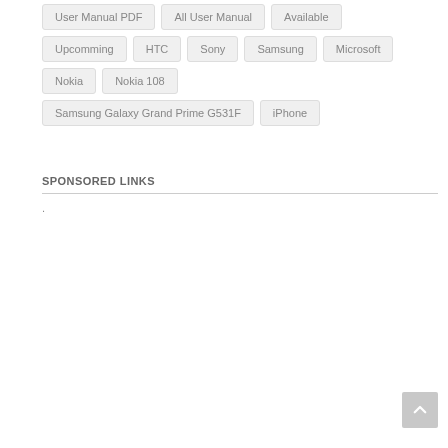User Manual PDF
All User Manual
Available
Upcomming
HTC
Sony
Samsung
Microsoft
Nokia
Nokia 108
Samsung Galaxy Grand Prime G531F
iPhone
SPONSORED LINKS
.